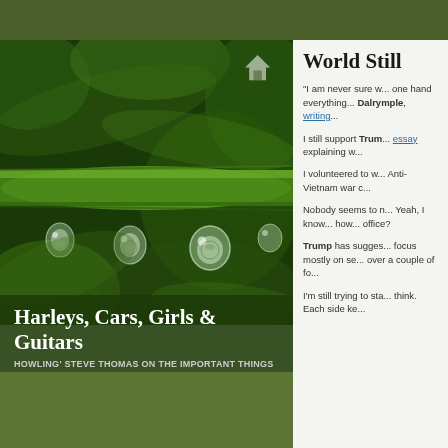[Figure (photo): Close-up macro photo of green plant stem with water droplets hanging from it, dark green bokeh background]
Harleys, Cars, Girls & Guitars
HOWLING' STEVE THOMAS ON THE IMPORTANT THINGS
Howlin' Steve Thomas
Shit Happens!
1
FOLLOWING
0
FOLLOWERS
World Still
"I am never sure w... one hand everything... Dalrymple, writing...
I still support Trump... essay explaining w...
I volunteered to w... Anti-Vietnam war c...
Nobody seems to n... Yeah, I know... how... office?
Trump has sugges... focus mostly on se... over a couple of fo...
I'm still trying to sta... think. Each side ke...